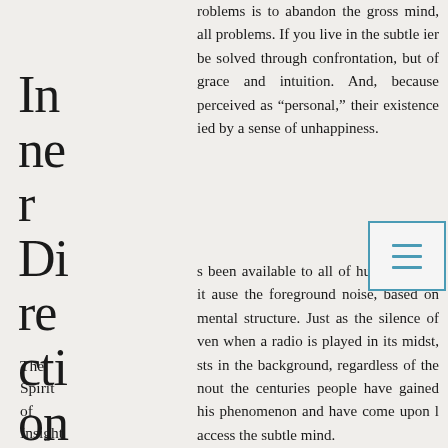Inner Directions
[Figure (logo): Lotus flower logo in an olive/tan circle outline]
The Spirit of Insight &
roblems is to abandon the gross mind, all problems. If you live in the subtle ier be solved through confrontation, but of grace and intuition. And, because perceived as “personal,” their existence ied by a sense of unhappiness.
s been available to all of humanity, yet it ause the foreground noise, based on mental structure. Just as the silence of ven when a radio is played in its midst, sts in the background, regardless of the nout the centuries people have gained his phenomenon and have come upon l access the subtle mind.
[Figure (other): Menu/hamburger icon button with blue border]
, right now, from realizing the peace of
npulsive thinking, which is dominated by